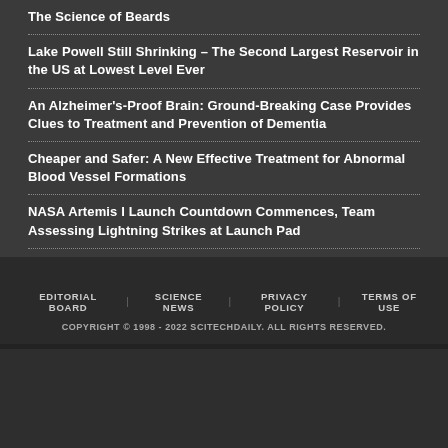The Science of Beards
Lake Powell Still Shrinking – The Second Largest Reservoir in the US at Lowest Level Ever
An Alzheimer's-Proof Brain: Ground-Breaking Case Provides Clues to Treatment and Prevention of Dementia
Cheaper and Safer: A New Effective Treatment for Abnormal Blood Vessel Formations
NASA Artemis I Launch Countdown Commences, Team Assessing Lightning Strikes at Launch Pad
EDITORIAL BOARD  SCIENCE NEWS  PRIVACY POLICY  TERMS OF USE  COPYRIGHT © 1998 - 2022 SCITECHDAILY. ALL RIGHTS RESERVED.